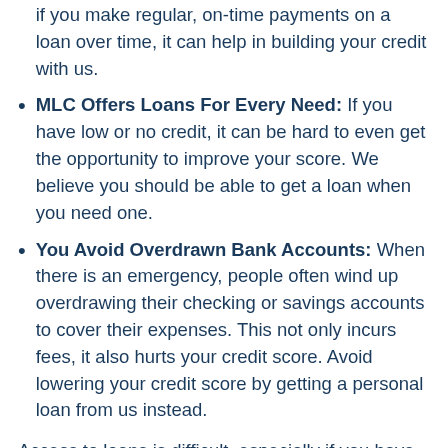if you make regular, on-time payments on a loan over time, it can help in building your credit with us.
MLC Offers Loans For Every Need: If you have low or no credit, it can be hard to even get the opportunity to improve your score. We believe you should be able to get a loan when you need one.
You Avoid Overdrawn Bank Accounts: When there is an emergency, people often wind up overdrawing their checking or savings accounts to cover their expenses. This not only incurs fees, it also hurts your credit score. Avoid lowering your credit score by getting a personal loan from us instead.
Access to loans is difficult, especially if you have bad credit. Our helpful associates at work hard to say “yes”. And get you personal loans with the best possible rates regardless of your credit score. To learn more, visit our website or like us on Facebook. Call (800) 960-FAST to